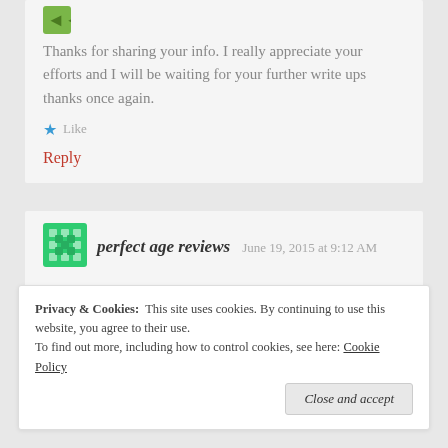[Figure (logo): Small green/teal avatar icon]
Thanks for sharing your info. I really appreciate your efforts and I will be waiting for your further write ups thanks once again.
★ Like
Reply
[Figure (logo): Green diamond-pattern avatar icon for perfect age reviews]
perfect age reviews    June 19, 2015 at 9:12 AM
Privacy & Cookies: This site uses cookies. By continuing to use this website, you agree to their use. To find out more, including how to control cookies, see here: Cookie Policy
Close and accept